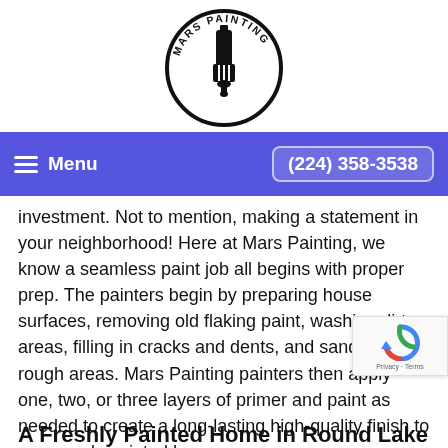[Figure (logo): Mars Painting logo: circular black outline with paint brush icon and 'MARS PAINTING' text around the circle]
Menu | (224) 358-3538
investment. Not to mention, making a statement in your neighborhood! Here at Mars Painting, we know a seamless paint job all begins with proper prep. The painters begin by preparing house surfaces, removing old flaking paint, washing dirty areas, filling in cracks and dents, and sanding any rough areas. Mars Painting painters then apply one, two, or three layers of primer and paint as needed to create a long-lasting high-quality finish to your newly painted house.
A Freshly Painted Home in Round Lake